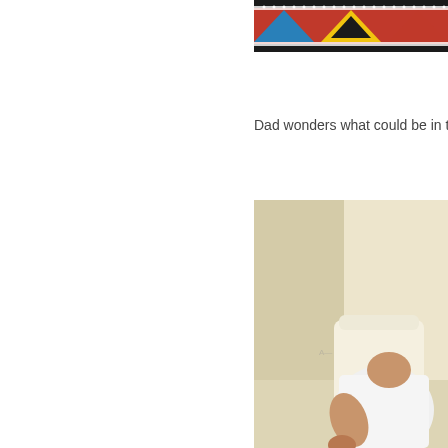[Figure (photo): Top portion of a colorful beaded or textile artifact with geometric red, blue, yellow patterns on dark background, cropped at top of page]
Dad wonders what could be in t
[Figure (photo): A man in a white t-shirt seated in a light-colored upholstered chair in a room with cream/beige walls, photographed from the side/front]